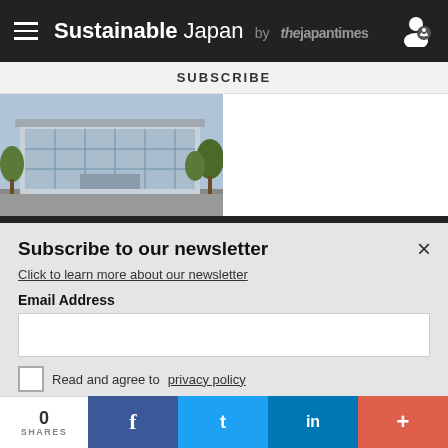Sustainable Japan by the japan times
SUBSCRIBE
[Figure (photo): Building exterior photograph showing a glass-fronted modern building with trees and a road in front]
Subscribe to our newsletter
Click to learn more about our newsletter
Email Address
Read and agree to privacy policy
SUBSCRIBE
0 SHARES